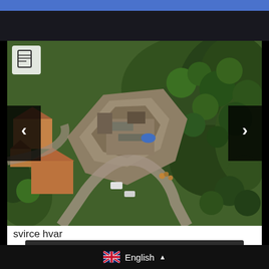[Figure (photo): Aerial drone photograph of building plot in Svirce, Hvar, Croatia — showing rocky cleared land surrounded by Mediterranean vegetation and nearby buildings with terracotta roofs. Navigation arrows on left and right sides. Document icon in top-left corner.]
svirce hvar
For Sale
€60,000 - Building Plot
English